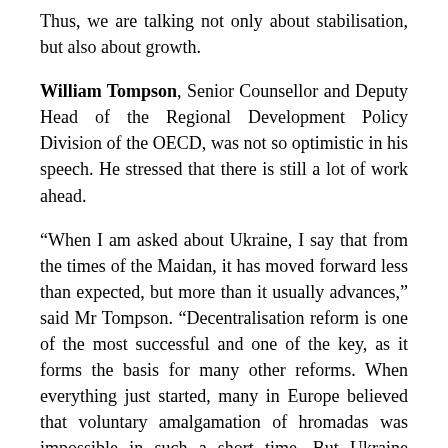Thus, we are talking not only about stabilisation, but also about growth.
William Tompson, Senior Counsellor and Deputy Head of the Regional Development Policy Division of the OECD, was not so optimistic in his speech. He stressed that there is still a lot of work ahead.
“When I am asked about Ukraine, I say that from the times of the Maidan, it has moved forward less than expected, but more than it usually advances,” said Mr Tompson. “Decentralisation reform is one of the most successful and one of the key, as it forms the basis for many other reforms. When everything just started, many in Europe believed that voluntary amalgamation of hromadas was impossible in such a short time. But Ukraine managed to do this, and now it's important not to lose the momentum. Do not stop. There is a need of further amalgamation of hromadas, fiscal decentralisation, etc.